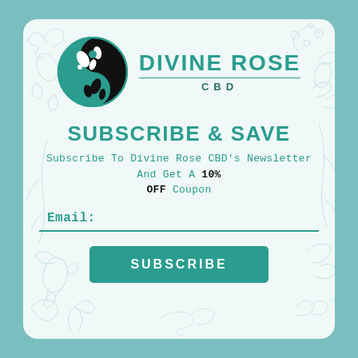[Figure (logo): Divine Rose CBD logo: black and teal yin-yang circle with floral/leaf design, company name DIVINE ROSE with CBD below]
SUBSCRIBE & SAVE
Subscribe To Divine Rose CBD's Newsletter And Get A 10% OFF Coupon
Email:
SUBSCRIBE